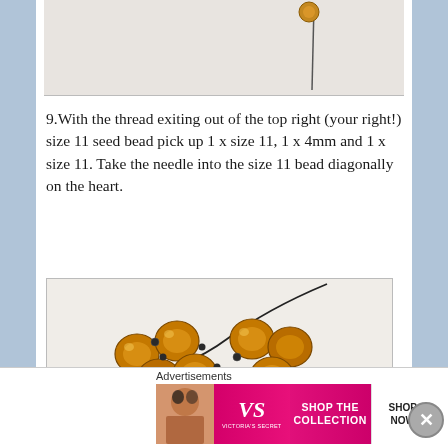[Figure (photo): Partial view of beading needle and bead at top of page]
9.With the thread exiting out of the top right (your right!) size 11 seed bead pick up 1 x size 11, 1 x 4mm and 1 x size 11. Take the needle into the size 11 bead diagonally on the heart.
[Figure (photo): Close-up photograph of amber/brown faceted crystal beads arranged in a heart shape on a beading needle/wire, with small dark seed beads between them, on a white background]
Advertisements
[Figure (illustration): Victoria's Secret advertisement banner: SHOP THE COLLECTION - SHOP NOW]